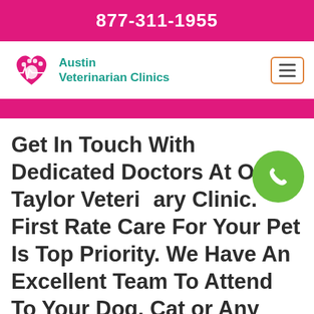877-311-1955
[Figure (logo): Austin Veterinarian Clinics logo with pink heart and paw print icon]
Get In Touch With Dedicated Doctors At Our Taylor Veterinary Clinic. First Rate Care For Your Pet Is Top Priority. We Have An Excellent Team To Attend To Your Dog, Cat or Any Other Pet's Needs. Find An Animal Hospital That You Can Trust. We Have The Leading